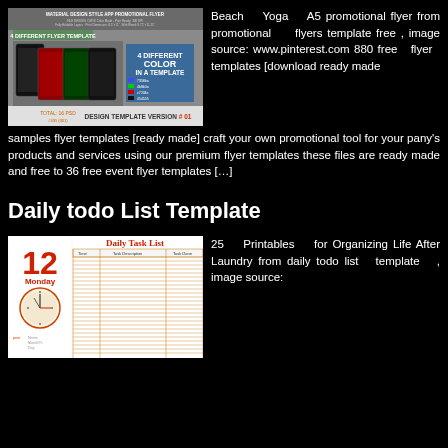[Figure (screenshot): Material Design Style App Promotional Flyer template preview showing 4 different color variations with phone mockups]
Beach Yoga A5 promotional flyer from promotional flyers template free , image source: www.pinterest.com 880 free flyer templates [download ready made samples flyer templates [ready made] craft your own promotional tool for your pany's products and services using our premium flyer templates these files are ready made and free to 36 free event flyer templates […]
Daily todo List Template
[Figure (screenshot): Daily Task List template showing Monday the 12th with time slots and a clock image]
25 Printables for Organizing Life After Laundry from daily todo list template , image source: